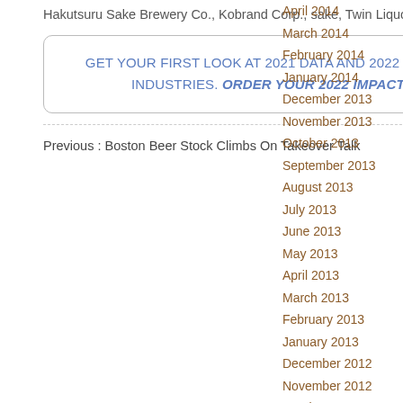Hakutsuru Sake Brewery Co., Kobrand Corp., sake, Twin Liquors, Vine Connections
GET YOUR FIRST LOOK AT 2021 DATA AND 2022 PROJECTIONS FOR THE WINE AND SPIRITS INDUSTRIES. ORDER YOUR 2022 IMPACT DATABANK REPORTS. CLICK HERE.
Previous : Boston Beer Stock Climbs On Takeover Talk
Next : Craft Brewing and Distilling News for September 28, 2017
April 2014
March 2014
February 2014
January 2014
December 2013
November 2013
October 2013
September 2013
August 2013
July 2013
June 2013
May 2013
April 2013
March 2013
February 2013
January 2013
December 2012
November 2012
October 2012
September 2012
August 2012
July 2012